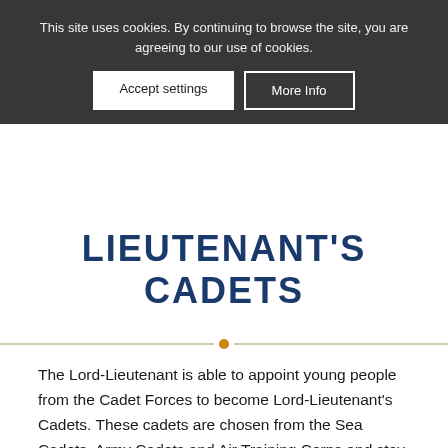This site uses cookies. By continuing to browse the site, you are agreeing to our use of cookies.
Accept settings | More Info
LIEUTENANT'S CADETS
The Lord-Lieutenant is able to appoint young people from the Cadet Forces to become Lord-Lieutenant's Cadets. These cadets are chosen from the Sea Cadets, Army Cadets and Air Training Corps and stay in this role for one